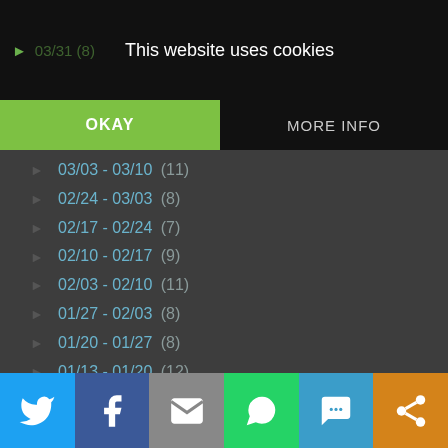This website uses cookies
OKAY    MORE INFO
► 03/03 - 03/10 (11)
► 02/24 - 03/03 (8)
► 02/17 - 02/24 (7)
► 02/10 - 02/17 (9)
► 02/03 - 02/10 (11)
► 01/27 - 02/03 (8)
► 01/20 - 01/27 (8)
► 01/13 - 01/20 (12)
► 01/06 - 01/13 (8)
► 2012 (442)
► 2011 (124)